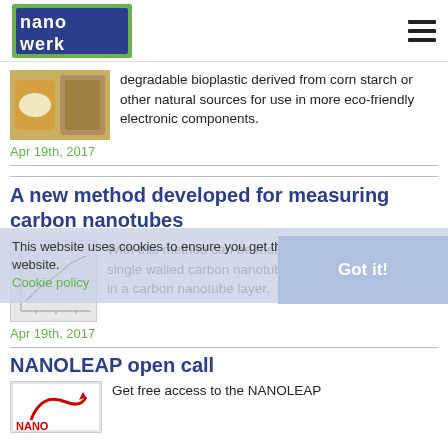[Figure (logo): Nanowerk logo - blue text 'nano werk' on green background]
degradable bioplastic derived from corn starch or other natural sources for use in more eco-friendly electronic components.
Apr 19th, 2017
A new method developed for measuring carbon nanotubes
With this method can be measured e.g. the number of single walled carbon nanotubes and their concentration in a carbon nanotube layer.
Apr 19th, 2017
This website uses cookies to ensure you get the best experience on our website.
Cookie policy
Got it!
NANOLEAP open call
Get free access to the NANOLEAP